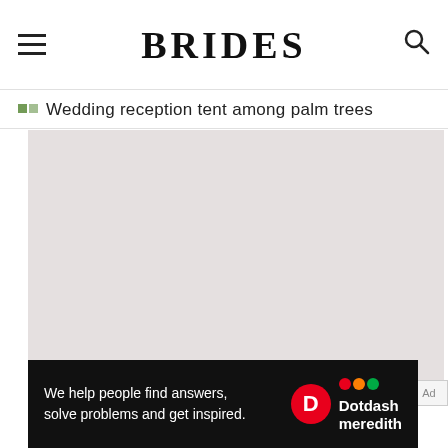BRIDES
Wedding reception tent among palm trees
[Figure (photo): Wedding reception tent among palm trees — large gray placeholder image area]
Ad
[Figure (infographic): Dotdash Meredith advertisement banner: 'We help people find answers, solve problems and get inspired.' with D logo and Dotdash meredith branding]